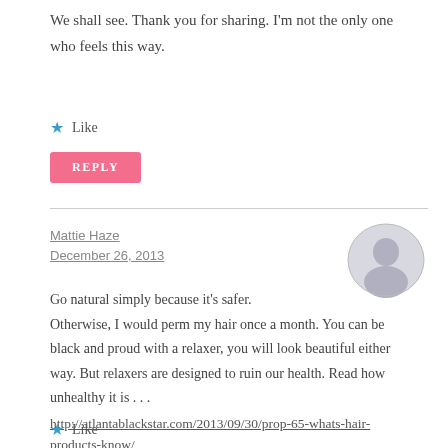We shall see. Thank you for sharing. I'm not the only one who feels this way.
★ Like
REPLY
Mattie Haze
December 26, 2013
[Figure (illustration): Generic user avatar — grey oval with white silhouette of a person]
Go natural simply because it's safer.
Otherwise, I would perm my hair once a month. You can be black and proud with a relaxer, you will look beautiful either way. But relaxers are designed to ruin our health. Read how unhealthy it is . . .
http://atlantablackstar.com/2013/09/30/prop-65-whats-hair-products-know/
★ Like